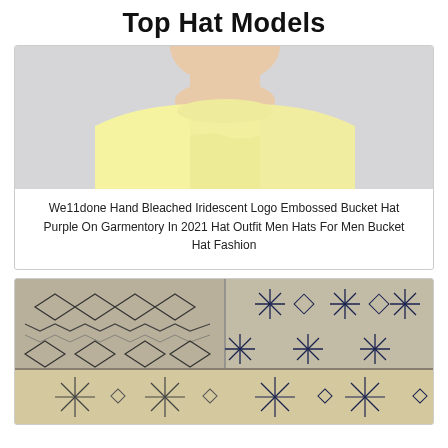Top Hat Models
[Figure (photo): Person wearing a light yellow crewneck sweatshirt, photographed from the neck down, with a light grey background.]
We11done Hand Bleached Iridescent Logo Embossed Bucket Hat Purple On Garmentory In 2021 Hat Outfit Men Hats For Men Bucket Hat Fashion
[Figure (photo): Close-up of a patterned bucket hat with geometric/nordic-style patterns in dark navy and cream/tan colors, showing the top and brim of the hat.]